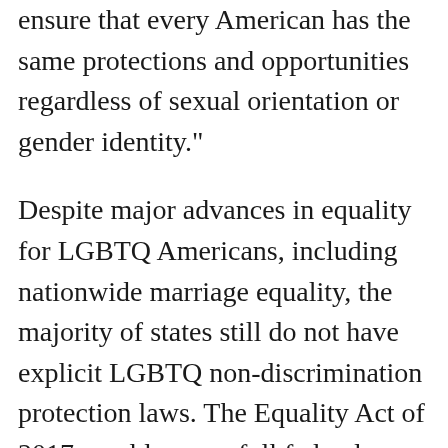ensure that every American has the same protections and opportunities regardless of sexual orientation or gender identity."
Despite major advances in equality for LGBTQ Americans, including nationwide marriage equality, the majority of states still do not have explicit LGBTQ non-discrimination protection laws. The Equality Act of 2017 would ensure full federal non-discrimination equality by adding sexual orientation and gender identity to other protected classes, such as race or religion, in existing federal laws.
The bill would explicitly ban discrimination in a